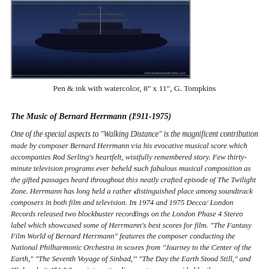[Figure (photo): An illustration or artwork of a ship/vessel scene in dark blue tones with the watermark www.fantasiesandloveries.com]
Pen & ink with watercolor, 8" x 11", G. Tompkins
The Music of Bernard Herrmann (1911-1975)
One of the special aspects to "Walking Distance" is the magnificent contribution made by composer Bernard Herrmann via his evocative musical score which accompanies Rod Serling’s heartfelt, wistfully remembered story.  Few thirty-minute television programs ever beheld such fabulous musical composition as the gifted passages heard throughout this neatly crafted episode of The Twilight Zone.  Herrmann has long held a rather distinguished place among soundtrack composers in both film and television.  In 1974 and 1975 Decca/ London Records released two blockbuster recordings on the London Phase 4 Stereo label which showcased some of Herrmann’s best scores for film.  "The Fantasy Film World of Bernard Herrmann" features the composer conducting the National Philharmonic Orchestra in scores from "Journey to the Center of the Earth," "The Seventh Voyage of Sinbad," "The Day the Earth Stood Still," and "Fahrenheit 451."  Some interesting liner notes are provided by the composer describing his designs for each individualistic